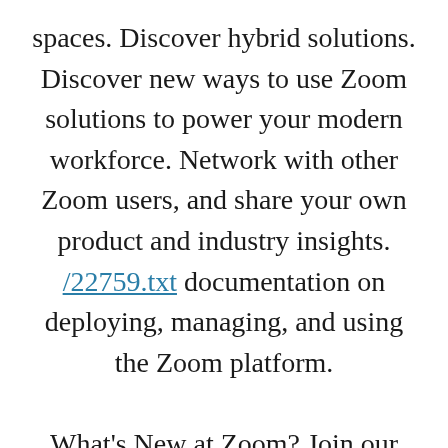spaces. Discover hybrid solutions. Discover new ways to use Zoom solutions to power your modern workforce. Network with other Zoom users, and share your own product and industry insights. /22759.txt documentation on deploying, managing, and using the Zoom platform.

What's New at Zoom? Join our /18156.txt webinar to get a first-hand look into some of our exciting new product and feature releases. I have many meetings along October's month